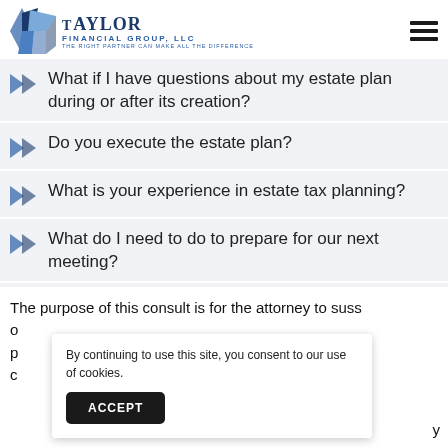Taylor Financial Group, LLC — The Right Partner Can Make All The Difference
What if I have questions about my estate plan during or after its creation?
Do you execute the estate plan?
What is your experience in estate tax planning?
What do I need to do to prepare for our next meeting?
The purpose of this consult is for the attorney to suss o p c y
By continuing to use this site, you consent to our use of cookies.